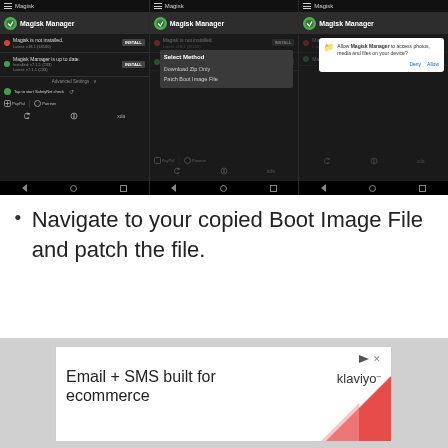[Figure (screenshot): Three Android phone screenshots showing Magisk Manager app: first showing main screen with install options, second showing 'Select Method' popup with 'Download Zip Only' and 'Patch Boot Image File' options, third showing a permission dialog asking 'Allow Magisk Manager to access photos, media and files on your device?' with Deny and Allow buttons.]
Navigate to your copied Boot Image File and patch the file.
[Figure (screenshot): Advertisement banner for Klaviyo: 'Email + SMS built for ecommerce' with Klaviyo logo and red triangle decoration.]